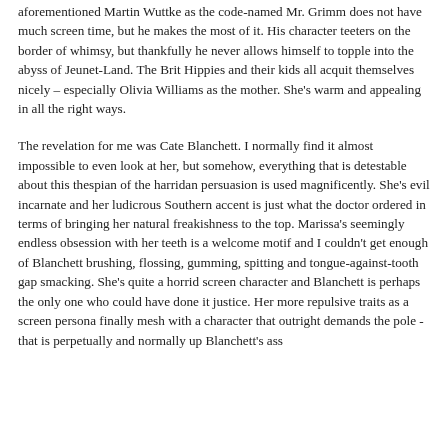aforementioned Martin Wuttke as the code-named Mr. Grimm does not have much screen time, but he makes the most of it. His character teeters on the border of whimsy, but thankfully he never allows himself to topple into the abyss of Jeunet-Land. The Brit Hippies and their kids all acquit themselves nicely – especially Olivia Williams as the mother. She's warm and appealing in all the right ways.
The revelation for me was Cate Blanchett. I normally find it almost impossible to even look at her, but somehow, everything that is detestable about this thespian of the harridan persuasion is used magnificently. She's evil incarnate and her ludicrous Southern accent is just what the doctor ordered in terms of bringing her natural freakishness to the top. Marissa's seemingly endless obsession with her teeth is a welcome motif and I couldn't get enough of Blanchett brushing, flossing, gumming, spitting and tongue-against-tooth gap smacking. She's quite a horrid screen character and Blanchett is perhaps the only one who could have done it justice. Her more repulsive traits as a screen persona finally mesh with a character that outright demands the pole - that is perpetually and normally up Blanchett's ass